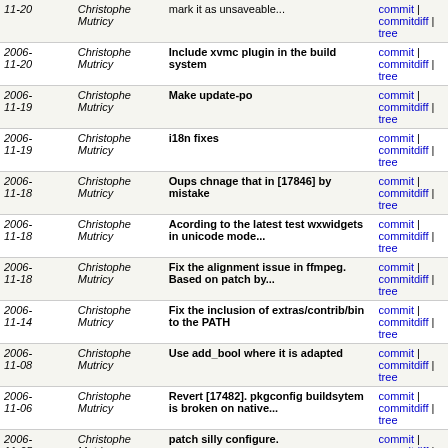| Date | Author | Message | Links |
| --- | --- | --- | --- |
| 2006-11-20 | Christophe Mutricy | mark it as unsaveable... | commit | commitdiff | tree |
| 2006-11-20 | Christophe Mutricy | Include xvmc plugin in the build system | commit | commitdiff | tree |
| 2006-11-19 | Christophe Mutricy | Make update-po | commit | commitdiff | tree |
| 2006-11-19 | Christophe Mutricy | i18n fixes | commit | commitdiff | tree |
| 2006-11-18 | Christophe Mutricy | Oups chnage that in [17846] by mistake | commit | commitdiff | tree |
| 2006-11-18 | Christophe Mutricy | Acording to the latest test wxwidgets in unicode mode... | commit | commitdiff | tree |
| 2006-11-18 | Christophe Mutricy | Fix the alignment issue in ffmpeg. Based on patch by... | commit | commitdiff | tree |
| 2006-11-14 | Christophe Mutricy | Fix the inclusion of extras/contrib/bin to the PATH | commit | commitdiff | tree |
| 2006-11-08 | Christophe Mutricy | Use add_bool where it is adapted | commit | commitdiff | tree |
| 2006-11-06 | Christophe Mutricy | Revert [17482]. pkgconfig buildsytem is broken on native... | commit | commitdiff | tree |
| 2006-11-05 | Christophe Mutricy | patch silly configure. | commit | commitdiff | tree |
| 2006-11-05 | Christophe Mutricy | the pkg.m4 in pkgconfig 0.21 is buggy. stay with 0... | commit | commitdiff | tree |
| 2006-11-05 | Christophe Mutricy | Use an uptodate pkg-config version | commit | commitdiff | tree |
| 2006-11-05 | Christophe Mutricy | Add pkg-config to win32 contribs as Msys suc^W doesn | commit | commitdiff | tree |